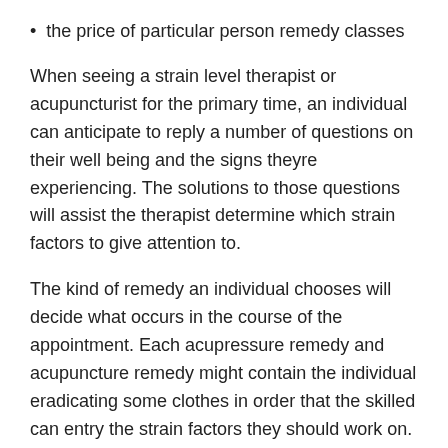the price of particular person remedy classes
When seeing a strain level therapist or acupuncturist for the primary time, an individual can anticipate to reply a number of questions on their well being and the signs theyre experiencing. The solutions to those questions will assist the therapist determine which strain factors to give attention to.
The kind of remedy an individual chooses will decide what occurs in the course of the appointment. Each acupressure remedy and acupuncture remedy might contain the individual eradicating some clothes in order that the skilled can entry the strain factors they should work on.
Throughout an acupressure appointment, the therapist will stimulate the strain factors by making use of agency strain